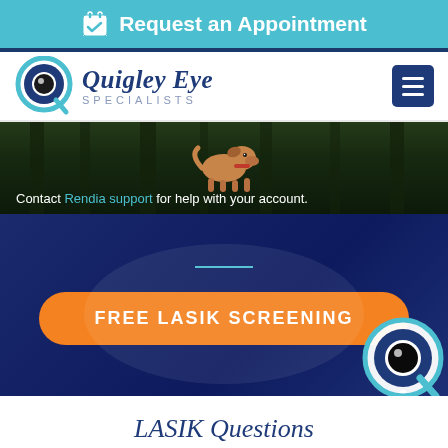Request an Appointment
[Figure (logo): Quigley Eye Specialists logo with stylized Q eye icon]
Contact Rendia support for help with your account.
[Figure (photo): Dark forest background with a dog illustration]
[Figure (illustration): Orange FREE LASIK SCREENING button on dark blue hero background]
LASIK Questions